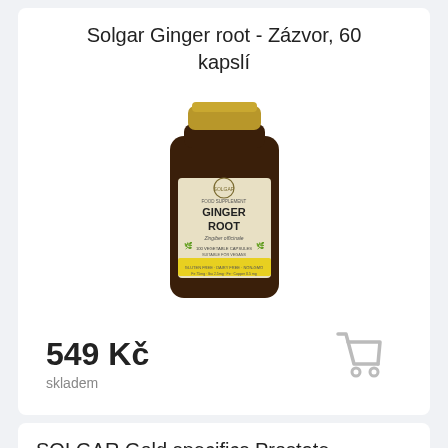Solgar Ginger root - Zázvor, 60 kapslí
[Figure (photo): Product photo of Solgar Ginger Root supplement bottle, brown glass jar with gold lid and cream/yellow label reading GINGER ROOT, 100 vegetable capsules]
549 Kč
[Figure (illustration): Shopping cart icon in light gray]
skladem
SOLGAR Gold specifics Prostate